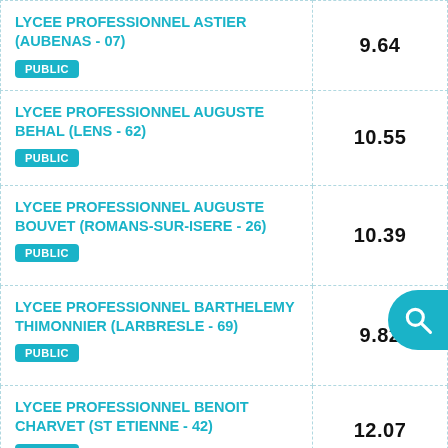| Établissement | Score |
| --- | --- |
| LYCEE PROFESSIONNEL ASTIER (AUBENAS - 07) PUBLIC | 9.64 |
| LYCEE PROFESSIONNEL AUGUSTE BEHAL (LENS - 62) PUBLIC | 10.55 |
| LYCEE PROFESSIONNEL AUGUSTE BOUVET (ROMANS-SUR-ISERE - 26) PUBLIC | 10.39 |
| LYCEE PROFESSIONNEL BARTHELEMY THIMONNIER (LARBRESLE - 69) PUBLIC | 9.82 |
| LYCEE PROFESSIONNEL BENOIT CHARVET (ST ETIENNE - 42) PUBLIC | 12.07 |